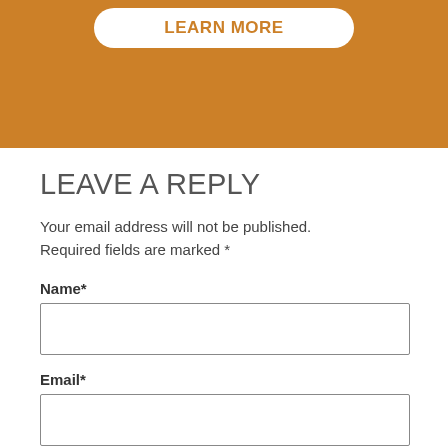[Figure (screenshot): Orange banner with a white 'LEARN MORE' button with rounded corners on an orange background]
LEAVE A REPLY
Your email address will not be published. Required fields are marked *
Name*
[Figure (screenshot): Name text input field, empty, with border]
Email*
[Figure (screenshot): Email text input field, empty, with border]
[Figure (screenshot): reCAPTCHA widget with checkbox 'I'm not a robot' and reCAPTCHA logo with Privacy and Terms links]